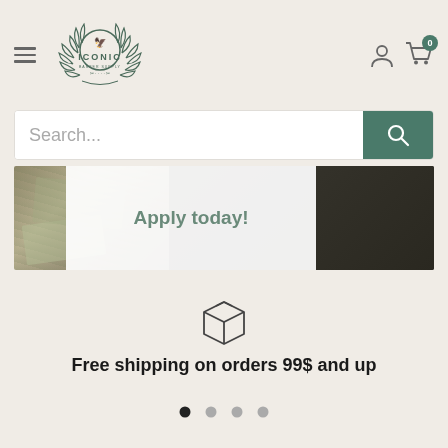[Figure (logo): Iconic Barber Supply logo with laurel wreath and scissors]
[Figure (screenshot): Search bar with magnifying glass button in teal/green color]
[Figure (photo): Banner image with money/cash background and 'Apply today!' text overlay]
[Figure (illustration): Package/box icon for free shipping feature]
Free shipping on orders 99$ and up